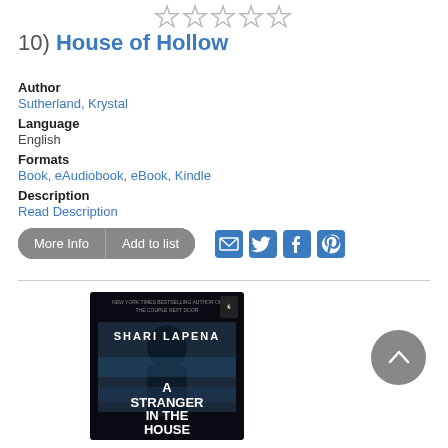[Figure (other): Five empty star rating icons in a row]
10) House of Hollow
Author
Sutherland, Krystal
Language
English
Formats
Book, eAudiobook, eBook, Kindle
Description
Read Description
[Figure (screenshot): Buttons: More Info and Add to list, plus social share icons for email, Twitter, Facebook, Pinterest]
[Figure (photo): Book cover: A Stranger in the House by Shari Lapena, dark cover with silhouette figure]